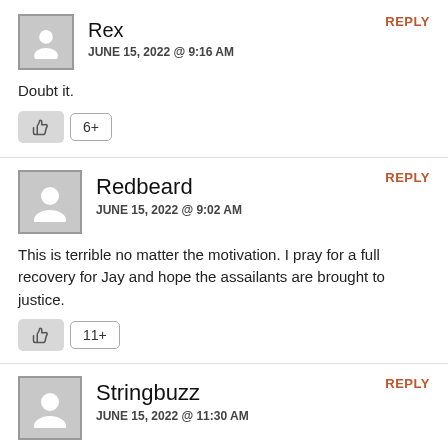Rex
JUNE 15, 2022 @ 9:16 AM
REPLY
Doubt it.
6+
Redbeard
JUNE 15, 2022 @ 9:02 AM
REPLY
This is terrible no matter the motivation. I pray for a full recovery for Jay and hope the assailants are brought to justice.
11+
Stringbuzz
JUNE 15, 2022 @ 11:30 AM
REPLY
I just don't understand why someone would do this to someone. Some people are just broken upstairs.
9+